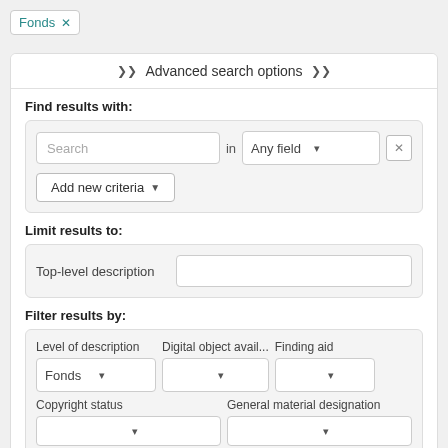Fonds ×
Advanced search options
Find results with:
Search in Any field ×
Add new criteria
Limit results to:
Top-level description
Filter results by:
Level of description   Digital object avail...   Finding aid
Fonds (dropdown)
Copyright status   General material designation